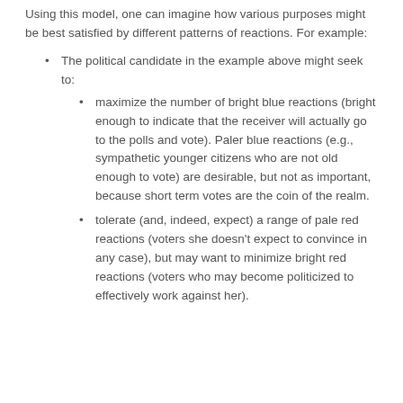Using this model, one can imagine how various purposes might be best satisfied by different patterns of reactions. For example:
The political candidate in the example above might seek to:
maximize the number of bright blue reactions (bright enough to indicate that the receiver will actually go to the polls and vote). Paler blue reactions (e.g., sympathetic younger citizens who are not old enough to vote) are desirable, but not as important, because short term votes are the coin of the realm.
tolerate (and, indeed, expect) a range of pale red reactions (voters she doesn't expect to convince in any case), but may want to minimize bright red reactions (voters who may become politicized to effectively work against her).